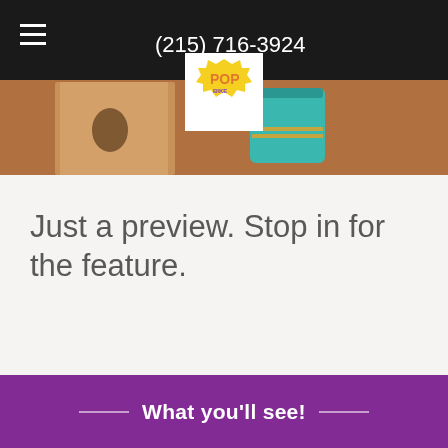(215) 716-3924
[Figure (photo): Dark overlay header with hamburger menu icon, phone number (215) 716-3924, and a POP logo in a white square box. Below is a photo showing wooden furniture and a teal/green mason jar on a table.]
Just a preview. Stop in for the feature.
What you'll see!